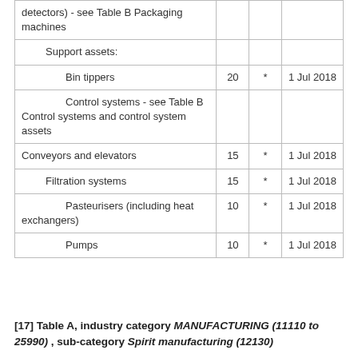| Asset | Years |  | Date |
| --- | --- | --- | --- |
| detectors) - see Table B Packaging machines |  |  |  |
| Support assets: |  |  |  |
| Bin tippers | 20 | * | 1 Jul 2018 |
| Control systems - see Table B Control systems and control system assets |  |  |  |
| Conveyors and elevators | 15 | * | 1 Jul 2018 |
| Filtration systems | 15 | * | 1 Jul 2018 |
| Pasteurisers (including heat exchangers) | 10 | * | 1 Jul 2018 |
| Pumps | 10 | * | 1 Jul 2018 |
[17] Table A, industry category MANUFACTURING (11110 to 25990) , sub-category Spirit manufacturing (12130)